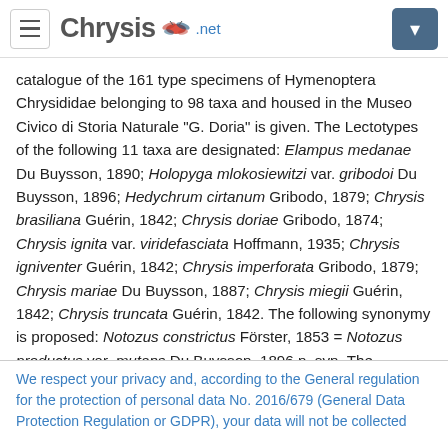Chrysis.net
catalogue of the 161 type specimens of Hymenoptera Chrysididae belonging to 98 taxa and housed in the Museo Civico di Storia Naturale “G. Doria” is given. The Lectotypes of the following 11 taxa are designated: Elampus medanae Du Buysson, 1890; Holopyga mlokosiewitzi var. gribodoi Du Buysson, 1896; Hedychrum cirtanum Gribodo, 1879; Chrysis brasiliana Guérin, 1842; Chrysis doriae Gribodo, 1874; Chrysis ignita var. viridefasciata Hoffmann, 1935; Chrysis igniventer Guérin, 1842; Chrysis imperforata Gribodo, 1879; Chrysis mariae Du Buysson, 1887; Chrysis miegii Guérin, 1842; Chrysis truncata Guérin, 1842. The following synonymy is proposed: Notozus constrictus Förster, 1853 = Notozus productus var. mutans Du Buysson, 1896 n. syn. The synonymy Ellampus puncticollis Mocsáry, 1887 = Ellampus affinis Wesmael, 1839 n. syn., is recognised, but it is suggested with a reversal of priority in accordance with the purpose of the
We respect your privacy and, according to the General regulation for the protection of personal data No. 2016/679 (General Data Protection Regulation or GDPR), your data will not be collected